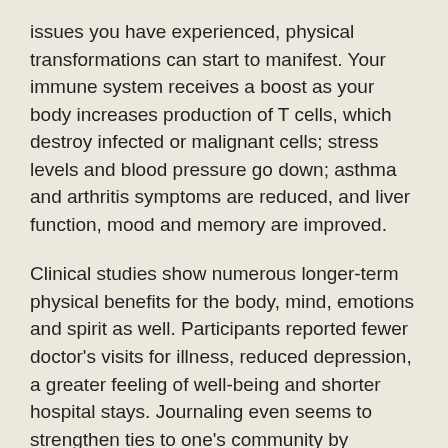issues you have experienced, physical transformations can start to manifest. Your immune system receives a boost as your body increases production of T cells, which destroy infected or malignant cells; stress levels and blood pressure go down; asthma and arthritis symptoms are reduced, and liver function, mood and memory are improved.
Clinical studies show numerous longer-term physical benefits for the body, mind, emotions and spirit as well. Participants reported fewer doctor's visits for illness, reduced depression, a greater feeling of well-being and shorter hospital stays. Journaling even seems to strengthen ties to one's community by improving the way people interact with others.
Expressive writing is a key component of the Mental Detoxification class at the Optimum Health Institute retreats in San Diego and Austin, Texas. During the 21-day holistic healing program, guests are encouraged to resolve painful issues using an effective combination of meditation and journaling. After asking for Divine